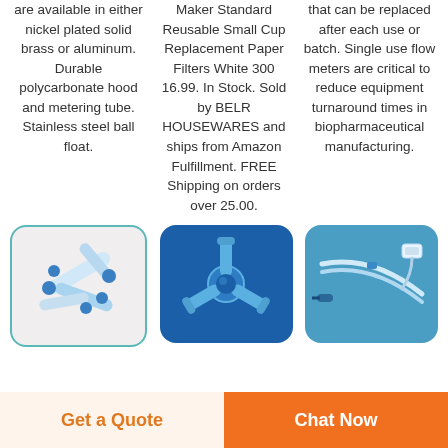are available in either nickel plated solid brass or aluminum. Durable polycarbonate hood and metering tube. Stainless steel ball float.
Maker Standard Reusable Small Cup Replacement Paper Filters White 300 16.99. In Stock. Sold by BELR HOUSEWARES and ships from Amazon Fulfillment. FREE Shipping on orders over 25.00.
that can be replaced after each use or batch. Single use flow meters are critical to reduce equipment turnaround times in biopharmaceutical manufacturing.
[Figure (photo): Medical connectors/tubes on light background with teal rounded rectangle border]
[Figure (photo): Blue Y-shaped or tri-star medical connector on dark blue background]
[Figure (photo): Medical tubing/catheter set on blue background]